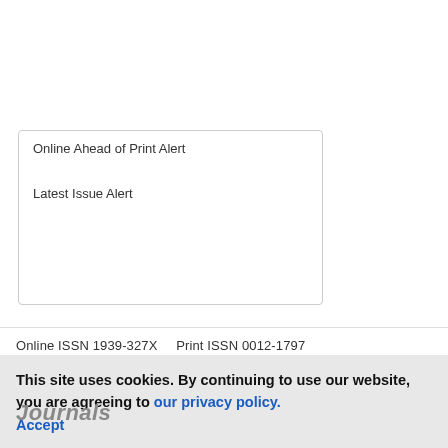Online Ahead of Print Alert
Latest Issue Alert
Online ISSN 1939-327X    Print ISSN 0012-1797
This site uses cookies. By continuing to use our website, you are agreeing to our privacy policy. Accept